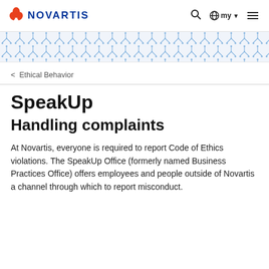NOVARTIS
[Figure (illustration): Decorative blue molecular/chain pattern banner]
< Ethical Behavior
SpeakUp
Handling complaints
At Novartis, everyone is required to report Code of Ethics violations. The SpeakUp Office (formerly named Business Practices Office) offers employees and people outside of Novartis a channel through which to report misconduct.